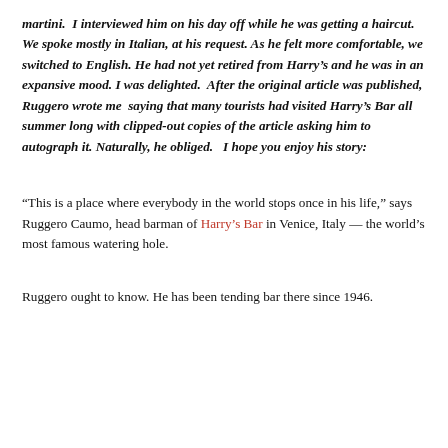martini.  I interviewed him on his day off while he was getting a haircut.   We spoke mostly in Italian, at his request. As he felt more comfortable, we switched to English. He had not yet retired from Harry's and he was in an expansive mood. I was delighted.  After the original article was published, Ruggero wrote me  saying that many tourists had visited Harry's Bar all summer long with clipped-out copies of the article asking him to autograph it. Naturally, he obliged.   I hope you enjoy his story:
“This is a place where everybody in the world stops once in his life,” says Ruggero Caumo, head barman of Harry's Bar in Venice, Italy — the world’s most famous watering hole.
Ruggero ought to know. He has been tending bar there since 1946.